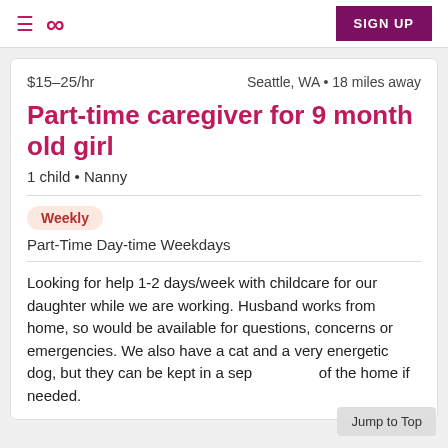≡ ∞ SIGN UP
$15–25/hr   Seattle, WA • 18 miles away
Part-time caregiver for 9 month old girl
1 child • Nanny
Weekly
Part-Time Day-time Weekdays
Looking for help 1-2 days/week with childcare for our daughter while we are working. Husband works from home, so would be available for questions, concerns or emergencies. We also have a cat and a very energetic dog, but they can be kept in a sep of the home if needed.
Jump to Top